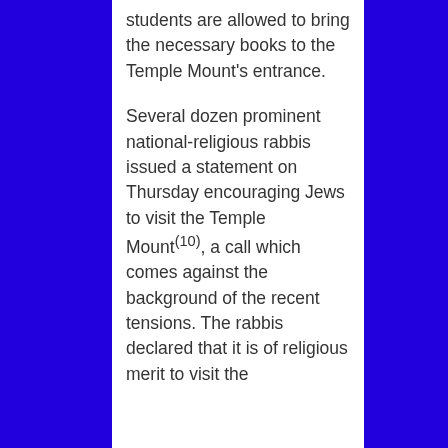students are allowed to bring the necessary books to the Temple Mount's entrance.
Several dozen prominent national-religious rabbis issued a statement on Thursday encouraging Jews to visit the Temple Mount(10), a call which comes against the background of the recent tensions. The rabbis declared that it is of religious merit to visit the